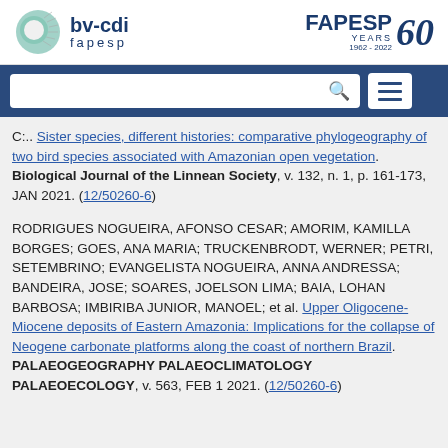[Figure (logo): bv-cdi fapesp logo on left, FAPESP 60 YEARS 1962-2022 logo on right]
[Figure (screenshot): Dark blue navigation bar with search box and hamburger menu button]
C:.. Sister species, different histories: comparative phylogeography of two bird species associated with Amazonian open vegetation. Biological Journal of the Linnean Society, v. 132, n. 1, p. 161-173, JAN 2021. (12/50260-6)
RODRIGUES NOGUEIRA, AFONSO CESAR; AMORIM, KAMILLA BORGES; GOES, ANA MARIA; TRUCKENBRODT, WERNER; PETRI, SETEMBRINO; EVANGELISTA NOGUEIRA, ANNA ANDRESSA; BANDEIRA, JOSE; SOARES, JOELSON LIMA; BAIA, LOHAN BARBOSA; IMBIRIBA JUNIOR, MANOEL; et al. Upper Oligocene-Miocene deposits of Eastern Amazonia: Implications for the collapse of Neogene carbonate platforms along the coast of northern Brazil. PALAEOGEOGRAPHY PALAEOCLIMATOLOGY PALAEOECOLOGY, v. 563, FEB 1 2021. (12/50260-6)